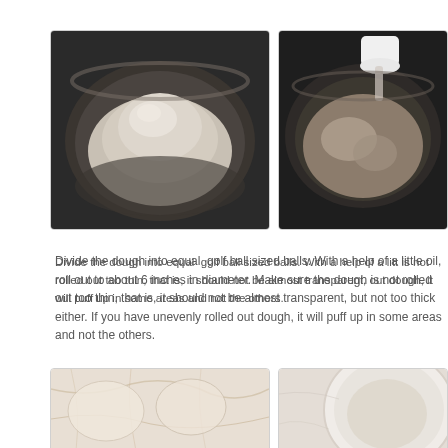[Figure (photo): A glass bowl viewed from above containing a mound of white flour in the center, gray-toned kitchen photo]
[Figure (photo): A glass bowl viewed from above with water or liquid being poured into flour mixture, partially mixed dough visible]
Divide the dough into equal  golf ball sized balls. With a help of a little oil, roll out to about 6 inches in diameter. Make sure the dough is not rolled out too thin, that is, it should not be almost transparent, but not too thick either. If you have unevenly rolled out dough, it will puff up in some areas and not the others.
[Figure (photo): A flat marble or stone surface with rolled out dough pieces, showing circular flatbreads laid out]
[Figure (photo): Partially visible image of a bowl or plate with dough or flatbread]